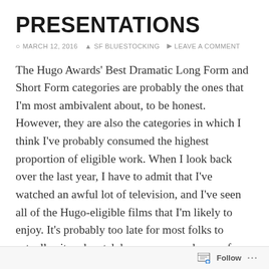PRESENTATIONS
MARCH 12, 2016  SF BLUESTOCKING  LEAVE A COMMENT
The Hugo Awards' Best Dramatic Long Form and Short Form categories are probably the ones that I'm most ambivalent about, to be honest. However, they are also the categories in which I think I've probably consumed the highest proportion of eligible work. When I look back over the last year, I have to admit that I've watched an awful lot of television, and I've seen all of the Hugo-eligible films that I'm likely to enjoy. It's probably too late for most folks to actually sit and watch however many hours of material I'm about to recommend, but here's what I think was the best of the genre film and television I watched in 2015.
Follow ...